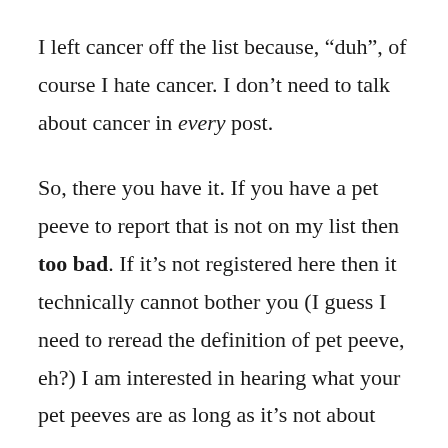I left cancer off the list because, “duh”, of course I hate cancer. I don’t need to talk about cancer in every post.
So, there you have it. If you have a pet peeve to report that is not on my list then too bad. If it’s not registered here then it technically cannot bother you (I guess I need to reread the definition of pet peeve, eh?) I am interested in hearing what your pet peeves are as long as it’s not about me.